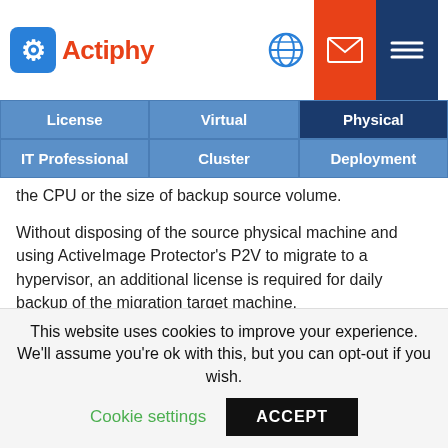Actiphy — navigation header with logo, globe, mail, and menu icons
| License | Virtual | Physical |
| --- | --- | --- |
| IT Professional | Cluster | Deployment |
| --- | --- | --- |
the CPU or the size of backup source volume.
Without disposing of the source physical machine and using ActiveImage Protector's P2V to migrate to a hypervisor, an additional license is required for daily backup of the migration target machine.
We offer special pricing to government offices and educational institutions. Please contact us to find out if your institution qualifies.
This website uses cookies to improve your experience. We'll assume you're ok with this, but you can opt-out if you wish.
Cookie settings   ACCEPT